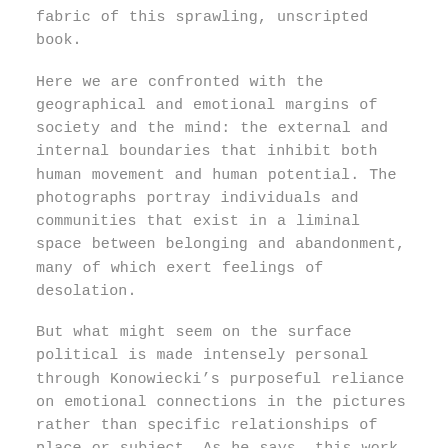fabric of this sprawling, unscripted book.
Here we are confronted with the geographical and emotional margins of society and the mind: the external and internal boundaries that inhibit both human movement and human potential. The photographs portray individuals and communities that exist in a liminal space between belonging and abandonment, many of which exert feelings of desolation.
But what might seem on the surface political is made intensely personal through Konowiecki's purposeful reliance on emotional connections in the pictures rather than specific relationships of place or subject. As he says, this work comes as a "happy accident, inspired by the frequent travels that nourished a sharp eye for the liminal types of communities to which I am drawn: people I have met in my wanderings, passersby in the street, a horse trained in a small Arab village, and untended gardens."
The “unscripted” nature of the work has an impact on the form of the book, in particular in the variety of genres and colors, from landscape photography to portraiture and from black and white to color. The various forms of expression serve as ways to